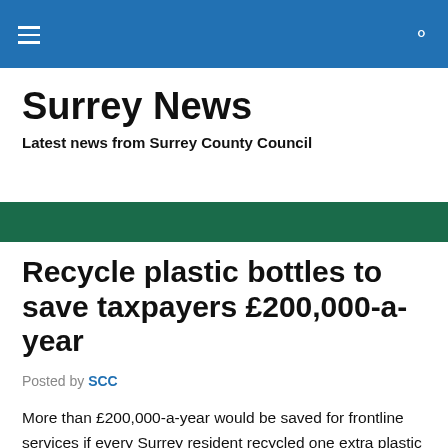Surrey News — Latest news from Surrey County Council
Surrey News
Latest news from Surrey County Council
Recycle plastic bottles to save taxpayers £200,000-a-year
Posted by SCC
More than £200,000-a-year would be saved for frontline services if every Surrey resident recycled one extra plastic bottle per week instead of throwing it in the bin.